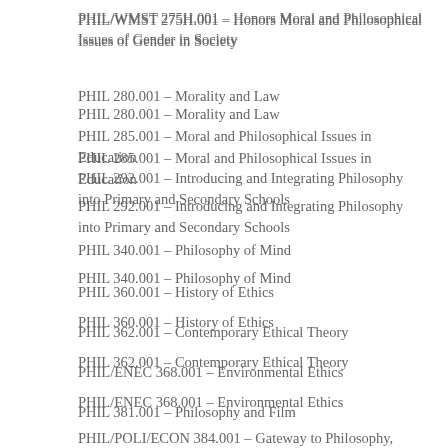PHIL/WMST 275H.001 – Honors Moral and Philosophical Issues of Gender in Society
PHIL 280.001 – Morality and Law
PHIL 285.001 – Moral and Philosophical Issues in Education
PHIL 292.001 – Introducing and Integrating Philosophy into Primary and Secondary Schools
PHIL 340.001 – Philosophy of Mind
PHIL 360.001 – History of Ethics
PHIL 362.001 – Contemporary Ethical Theory
PHIL/ENEC 368.001 – Environmental Ethics
PHIL 381.001 – Philosophy and Film
PHIL/POLI/ECON 384.001 – Gateway to Philosophy, Politics, and